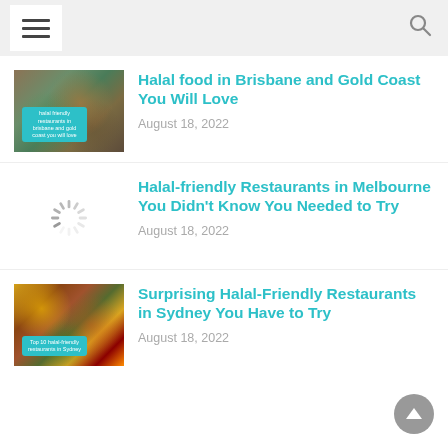Navigation menu and search
[Figure (photo): Food photo showing Indian dishes from above]
Halal food in Brisbane and Gold Coast You Will Love
August 18, 2022
[Figure (photo): Loading spinner icon]
Halal-friendly Restaurants in Melbourne You Didn't Know You Needed to Try
August 18, 2022
[Figure (photo): Food photo showing colorful dishes from above]
Surprising Halal-Friendly Restaurants in Sydney You Have to Try
August 18, 2022